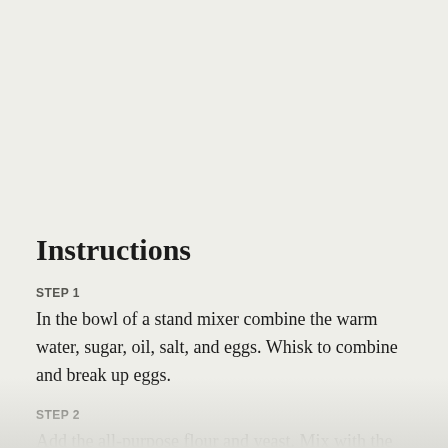Instructions
STEP 1
In the bowl of a stand mixer combine the warm water, sugar, oil, salt, and eggs. Whisk to combine and break up eggs.
STEP 2
Add the all-purpose flour and yeast. Mix with the dough hook attachment until combined, 1 minute. Add 2 cups of